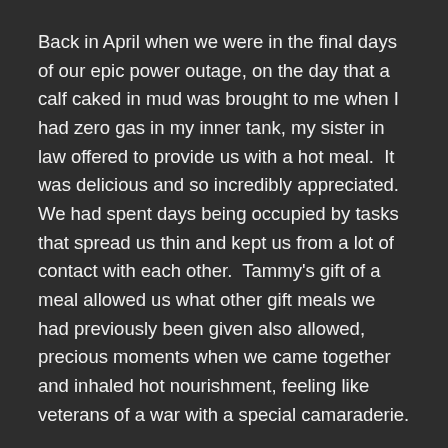Back in April when we were in the final days of our epic power outage, on the day that a calf caked in mud was brought to me when I had zero gas in my inner tank, my sister in law offered to provide us with a hot meal.  It was delicious and so incredibly appreciated.  We had spent days being occupied by tasks that spread us thin and kept us from a lot of contact with each other.  Tammy's gift of a meal allowed us what other gift meals we had previously been given also allowed, precious moments when we came together and inhaled hot nourishment, feeling like veterans of a war with a special camaraderie.
Last month Tammy offered us another meal, this time it was ribs and it was quite amazing.
This past week Tammy called to line up another day when she could feed us.   We got it arranged for this past Saturday which was handy as I conducted a wedding that